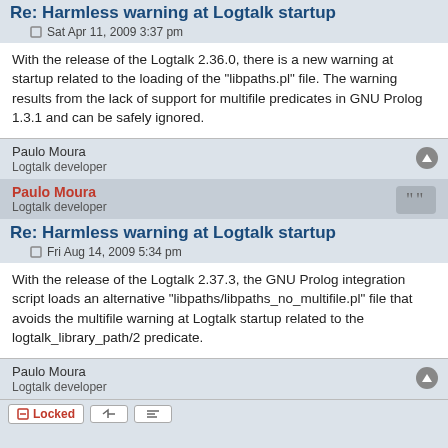Re: Harmless warning at Logtalk startup
Sat Apr 11, 2009 3:37 pm
With the release of the Logtalk 2.36.0, there is a new warning at startup related to the loading of the "libpaths.pl" file. The warning results from the lack of support for multifile predicates in GNU Prolog 1.3.1 and can be safely ignored.
Paulo Moura
Logtalk developer
Paulo Moura
Logtalk developer
Re: Harmless warning at Logtalk startup
Fri Aug 14, 2009 5:34 pm
With the release of the Logtalk 2.37.3, the GNU Prolog integration script loads an alternative "libpaths/libpaths_no_multifile.pl" file that avoids the multifile warning at Logtalk startup related to the logtalk_library_path/2 predicate.
Paulo Moura
Logtalk developer